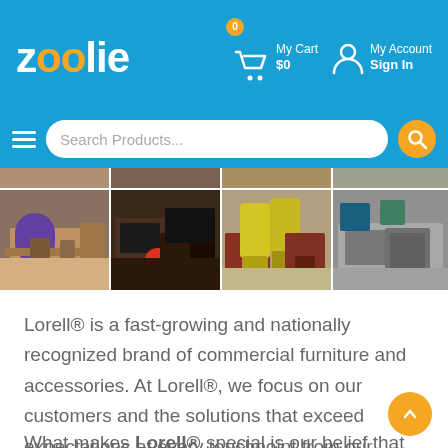[Figure (screenshot): Zoolie e-commerce website header with logo, My Cart ($0, 0 items), My Account/Sign In, and Search Products bar with hamburger menu]
[Figure (photo): Grid of 8 office furniture product photos showing desks, chairs, and office settings from Lorell brand]
Lorell® is a fast-growing and nationally recognized brand of commercial furniture and accessories. At Lorell®, we focus on our customers and the solutions that exceed expectations at every touchpoint from our service to the quality of our product.
What makes Lorell® special is our belief that we create